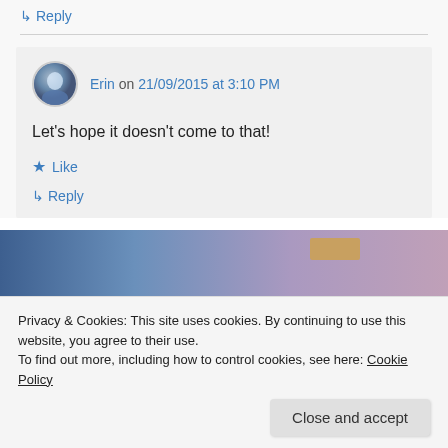↳ Reply
Erin on 21/09/2015 at 3:10 PM
Let's hope it doesn't come to that!
★ Like
↳ Reply
[Figure (illustration): A blurred banner image with blue-to-purple gradient and a small brownish-orange button element on the right side.]
Privacy & Cookies: This site uses cookies. By continuing to use this website, you agree to their use.
To find out more, including how to control cookies, see here: Cookie Policy
Close and accept